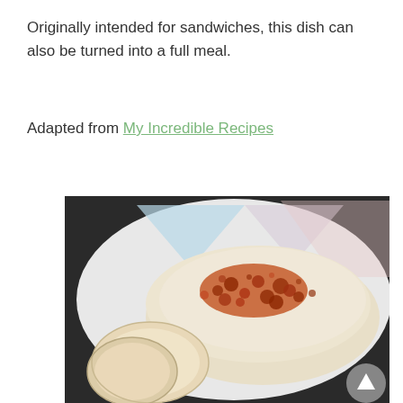Originally intended for sandwiches, this dish can also be turned into a full meal.
Adapted from My Incredible Recipes
[Figure (photo): A cream cheese dip topped with crumbled bacon and spices, served on a decorative plate with slices of bread on the side.]